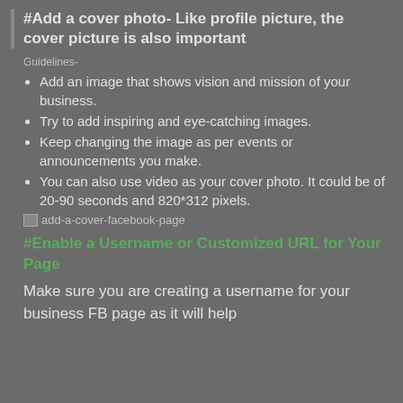#Add a cover photo- Like profile picture, the cover picture is also important
Guidelines-
Add an image that shows vision and mission of your business.
Try to add inspiring and eye-catching images.
Keep changing the image as per events or announcements you make.
You can also use video as your cover photo. It could be of 20-90 seconds and 820*312 pixels.
[Figure (photo): Broken image placeholder labeled add-a-cover-facebook-page]
#Enable a Username or Customized URL for Your Page
Make sure you are creating a username for your business FB page as it will help